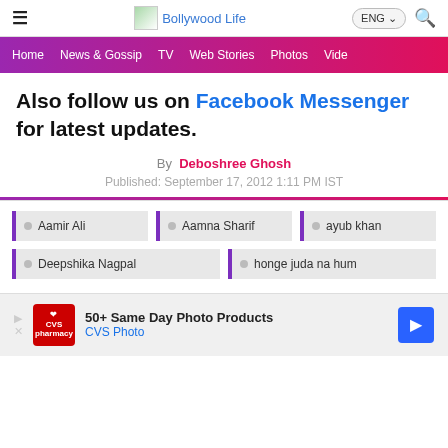Bollywood Life
Home | News & Gossip | TV | Web Stories | Photos | Video
Also follow us on Facebook Messenger for latest updates.
By Deboshree Ghosh
Published: September 17, 2012 1:11 PM IST
Aamir Ali
Aamna Sharif
ayub khan
Deepshika Nagpal
honge juda na hum
[Figure (screenshot): CVS Photo advertisement: 50+ Same Day Photo Products, CVS Photo]